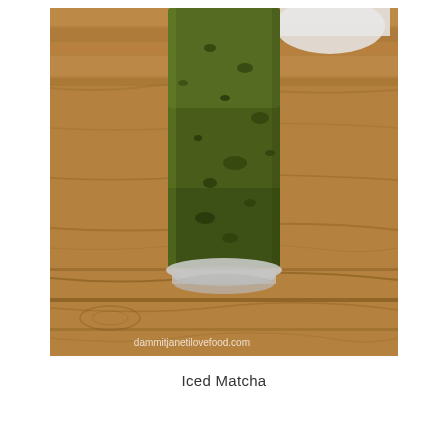[Figure (photo): A tall glass filled with iced matcha green tea drink, placed on a wooden table surface. The drink is a dark olive-green color with visible matcha particles. The glass has a clear base and the wooden table has a warm brown tone with visible wood grain. A watermark reads 'dammitjanetilovefood.com' in the lower right corner of the image.]
Iced Matcha